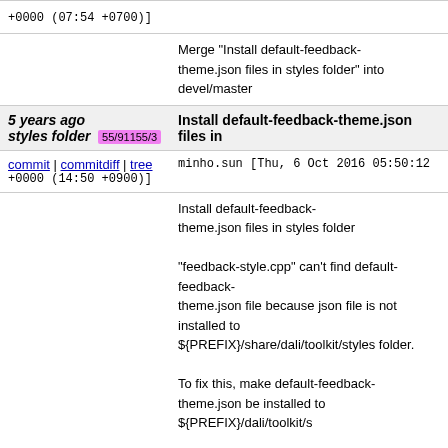+0000 (07:54 +0700)]
Merge "Install default-feedback-theme.json files in styles folder" into devel/master
5 years ago Install default-feedback-theme.json files in styles folder 55/91155/3
commit | commitdiff | tree   minho.sun [Thu, 6 Oct 2016 05:50:12 +0000 (14:50 +0900)]
Install default-feedback-theme.json files in styles folder

"feedback-style.cpp" can't find default-feedback-theme.json file because json file is not installed to ${PREFIX}/share/dali/toolkit/styles folder.

To fix this, make default-feedback-theme.json be installed to ${PREFIX}/dali/toolkit/s

Change-Id: I1a4944c46187c3710c1b635366bdb119eb45c
Signed-off-by: minho.sun <minho.sun@samsung.com>
5 years ago This patch is for refining dali application to support tizen c# application. 66/91566/4